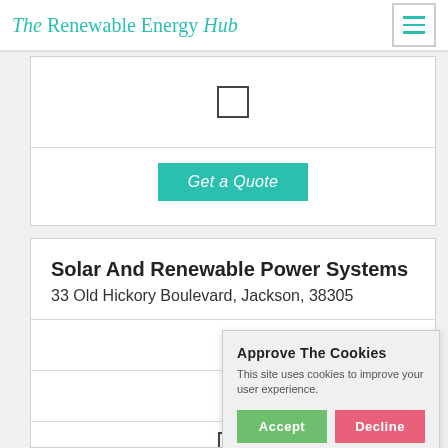The Renewable Energy Hub
[Figure (screenshot): Checkbox (unchecked) in a white card panel]
Get a Quote
Solar And Renewable Power Systems
33 Old Hickory Boulevard, Jackson, 38305
89.49
[Figure (other): Star rating row showing approximately 2.5 out of 5 stars]
[Figure (screenshot): Checkbox (unchecked) at bottom of card]
Approve The Cookies
This site uses cookies to improve your user experience.
Accept   Decline
Cookie policy